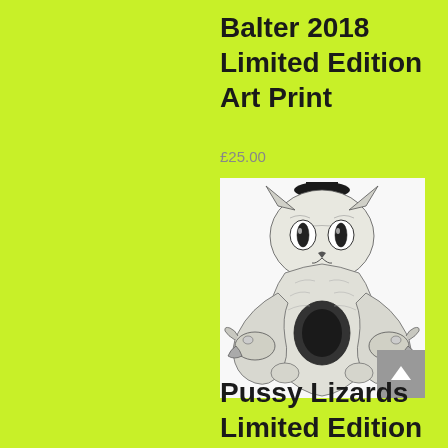Balter 2018 Limited Edition Art Print
£25.00
[Figure (illustration): Black and white detailed ink drawing of a sphynx cat holding two lizards, one on each side, with intricate line work. The cat has large staring eyes and the lizards have open mouths.]
Pussy Lizards Limited Edition Art Print